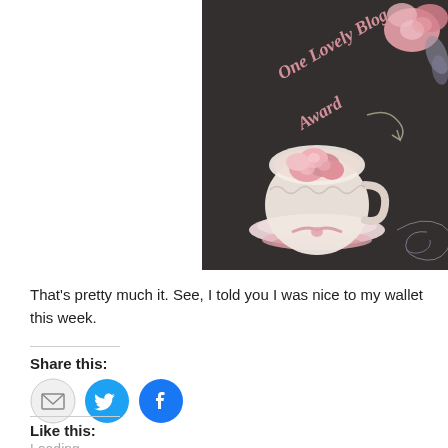[Figure (illustration): One Lovely Blog Award image with dark textured background, pink roses in a teacup, and decorative text reading 'One Lovely Blog Award']
That's pretty much it. See, I told you I was nice to my wallet this week.
Share this:
[Figure (infographic): Social sharing icons: email (grey circle), Twitter (blue circle with bird), Facebook (blue circle with f)]
Like this:
Loading...